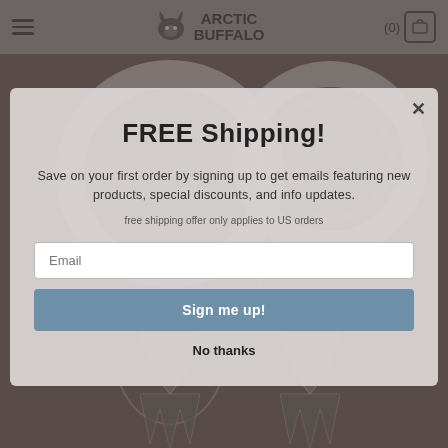Arctic Buffalo — navigation bar with hamburger menu, logo, and cart (0)
[Figure (screenshot): Background product photo showing large white/silver ear gauges/tunnels and hanging dragon earrings on a dark brown background]
FREE Shipping!
Save on your first order by signing up to get emails featuring new products, special discounts, and info updates.
free shipping offer only applies to US orders
Email
Sign me up!
No thanks